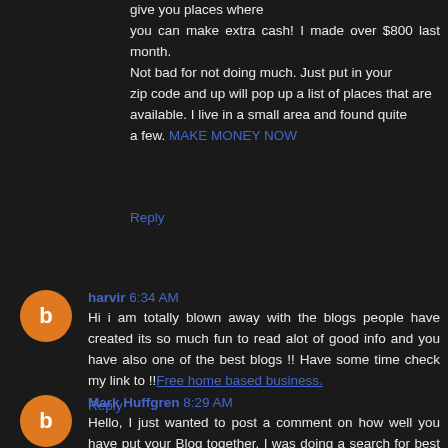give you places where you can make extra cash! I made over $800 last month. Not bad for not doing much. Just put in your zip code and up will pop up a list of places that are available. I live in a small area and found quite a few. MAKE MONEY NOW
Reply
harvir 6:34 AM
Hi i am totally blown away with the blogs people have created its so much fun to read alot of good info and you have also one of the best blogs !! Have some time check my link to !!Free home based business.
Reply
Mark Huffgren 8:29 AM
Hello, I just wanted to post a comment on how well you have put your Blog together. I was doing a search for best home based business and came across your Blog. I